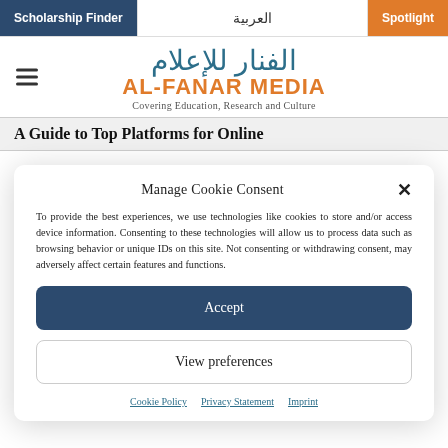Scholarship Finder | العربية | Spotlight
AL-FANAR MEDIA — Covering Education, Research and Culture
A Guide to Top Platforms for Online
Manage Cookie Consent
To provide the best experiences, we use technologies like cookies to store and/or access device information. Consenting to these technologies will allow us to process data such as browsing behavior or unique IDs on this site. Not consenting or withdrawing consent, may adversely affect certain features and functions.
Accept
View preferences
Cookie Policy | Privacy Statement | Imprint